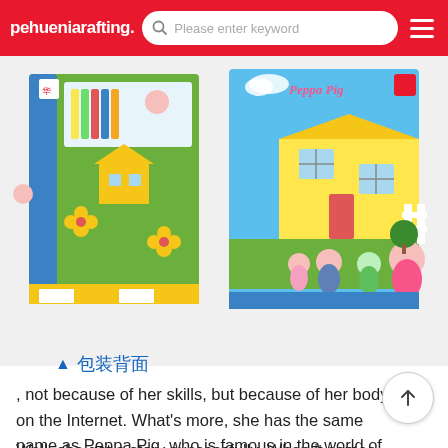pehueniarafting.
[Figure (photo): Two Peppa Pig toy building block sets in colorful boxes. Left box shows the back of packaging with Chinese characters. Right box shows front with Peppa Pig house and character figures on green grass background.]
▲ 包装背面
, not because of her skills, but because of her body on the Internet. What's more, she has the same name as Peppa Pig, who is famous in the world of children. Her name is page · Spielenak, let's take a lookWhy is Peggy, a beautiful go popular on the Internet when playing a golf game worth 100000 dollars
Well, she got a story successfully. When it comes...